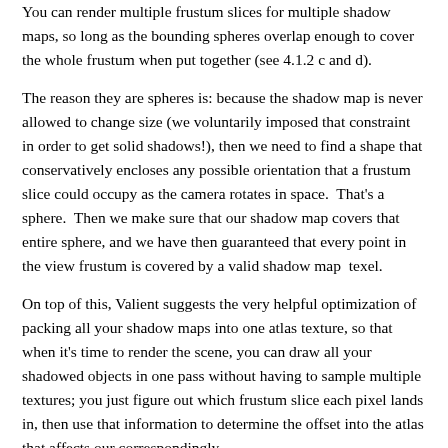You can render multiple frustum slices for multiple shadow maps, so long as the bounding spheres overlap enough to cover the whole frustum when put together (see 4.1.2 c and d).
The reason they are spheres is: because the shadow map is never allowed to change size (we voluntarily imposed that constraint in order to get solid shadows!), then we need to find a shape that conservatively encloses any possible orientation that a frustum slice could occupy as the camera rotates in space.  That's a sphere.  Then we make sure that our shadow map covers that entire sphere, and we have then guaranteed that every point in the view frustum is covered by a valid shadow map  texel.
On top of this, Valient suggests the very helpful optimization of packing all your shadow maps into one atlas texture, so that when it's time to render the scene, you can draw all your shadowed objects in one pass without having to sample multiple textures; you just figure out which frustum slice each pixel lands in, then use that information to determine the offset into the atlas that affects our...correspondingly...